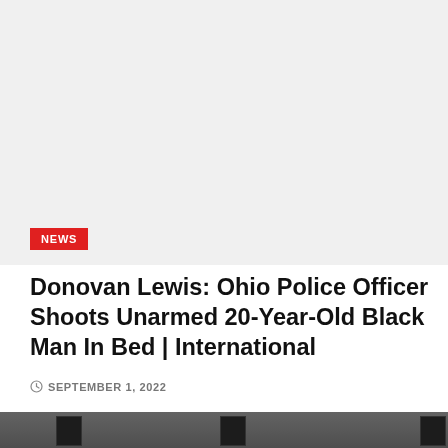[Figure (photo): Light gray background area representing a photo placeholder at the top of the news article page]
NEWS
Donovan Lewis: Ohio Police Officer Shoots Unarmed 20-Year-Old Black Man In Bed | International
SEPTEMBER 1, 2022
[Figure (photo): Dark gray photograph at the bottom of the page, partially visible, showing what appears to be a wall or surface with dark rectangular elements]